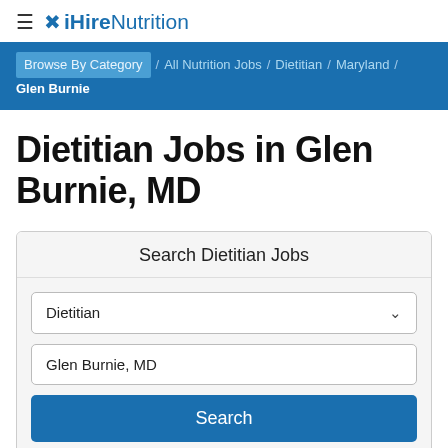≡ iHireNutrition
Browse By Category / All Nutrition Jobs / Dietitian / Maryland / Glen Burnie
Dietitian Jobs in Glen Burnie, MD
Search Dietitian Jobs
Dietitian
Glen Burnie, MD
Search